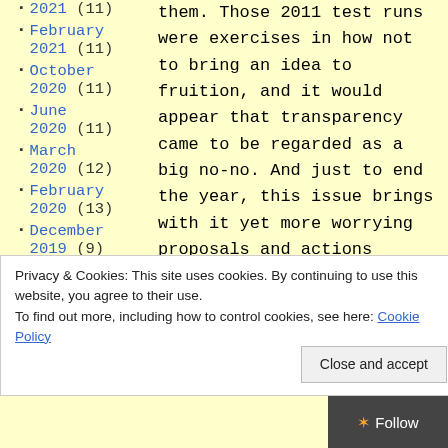February 2021 (11)
October 2020 (11)
June 2020 (11)
March 2020 (12)
February 2020 (13)
December 2019 (9)
November 2019 (12)
them. Those 2011 test runs were exercises in how not to bring an idea to fruition, and it would appear that transparency came to be regarded as a big no-no. And just to end the year, this issue brings with it yet more worrying proposals and actions against the principle of an open, discursive academic
Privacy & Cookies: This site uses cookies. By continuing to use this website, you agree to their use.
To find out more, including how to control cookies, see here: Cookie Policy
Close and accept
Follow